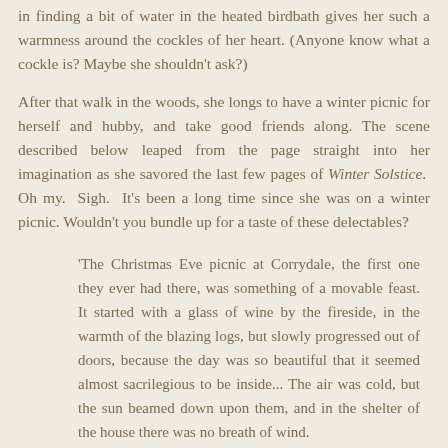in finding a bit of water in the heated birdbath gives her such a warmness around the cockles of her heart. (Anyone know what a cockle is? Maybe she shouldn't ask?)
After that walk in the woods, she longs to have a winter picnic for herself and hubby, and take good friends along. The scene described below leaped from the page straight into her imagination as she savored the last few pages of Winter Solstice. Oh my. Sigh. It's been a long time since she was on a winter picnic. Wouldn't you bundle up for a taste of these delectables?
'The Christmas Eve picnic at Corrydale, the first one they ever had there, was something of a movable feast. It started with a glass of wine by the fireside, in the warmth of the blazing logs, but slowly progressed out of doors, because the day was so beautiful that it seemed almost sacrilegious to be inside... The air was cold, but the sun beamed down upon them, and in the shelter of the house there was no breath of wind.
They had brought hot soup laced with sherry